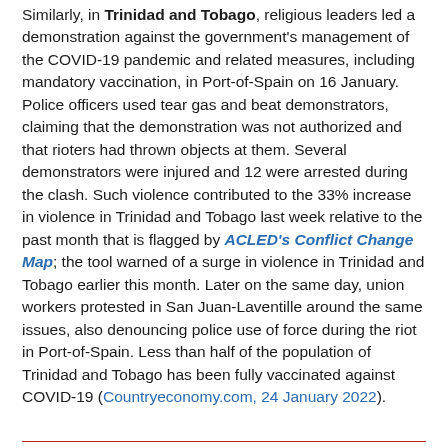Similarly, in Trinidad and Tobago, religious leaders led a demonstration against the government's management of the COVID-19 pandemic and related measures, including mandatory vaccination, in Port-of-Spain on 16 January. Police officers used tear gas and beat demonstrators, claiming that the demonstration was not authorized and that rioters had thrown objects at them. Several demonstrators were injured and 12 were arrested during the clash. Such violence contributed to the 33% increase in violence in Trinidad and Tobago last week relative to the past month that is flagged by ACLED's Conflict Change Map; the tool warned of a surge in violence in Trinidad and Tobago earlier this month. Later on the same day, union workers protested in San Juan-Laventille around the same issues, also denouncing police use of force during the riot in Port-of-Spain. Less than half of the population of Trinidad and Tobago has been fully vaccinated against COVID-19 (Countryeconomy.com, 24 January 2022).